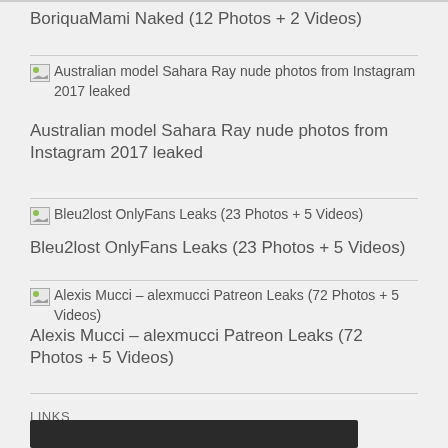BoriquaMami Naked (12 Photos + 2 Videos)
Australian model Sahara Ray nude photos from Instagram 2017 leaked
Australian model Sahara Ray nude photos from Instagram 2017 leaked
Bleu2lost OnlyFans Leaks (23 Photos + 5 Videos)
Bleu2lost OnlyFans Leaks (23 Photos + 5 Videos)
Alexis Mucci – alexmucci Patreon Leaks (72 Photos + 5 Videos)
Alexis Mucci – alexmucci Patreon Leaks (72 Photos + 5 Videos)
LINKS
[Figure (screenshot): Dark navigation bar]